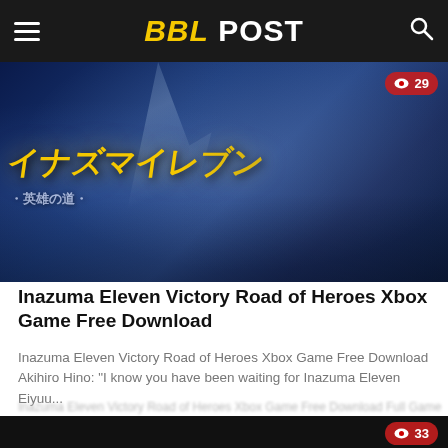BBL POST
[Figure (illustration): Inazuma Eleven Victory Road of Heroes anime promotional artwork showing anime characters in a soccer/football themed scene with yellow logo text and lightning effects. View count badge showing 29 in top right corner.]
Inazuma Eleven Victory Road of Heroes Xbox Game Free Download
Inazuma Eleven Victory Road of Heroes Xbox Game Free Download Akihiro Hino: "I know you have been waiting for Inazuma Eleven Eiyuu...
[Figure (screenshot): Partial second article image showing dark background, view count badge showing 33 in top right corner.]